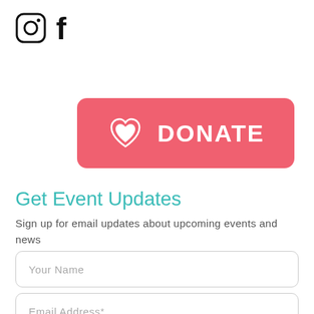[Figure (logo): Instagram and Facebook social media icons side by side]
[Figure (illustration): Red/coral donate button with heart icon and DONATE text]
Get Event Updates
Sign up for email updates about upcoming events and news
Your Name
Email Address *